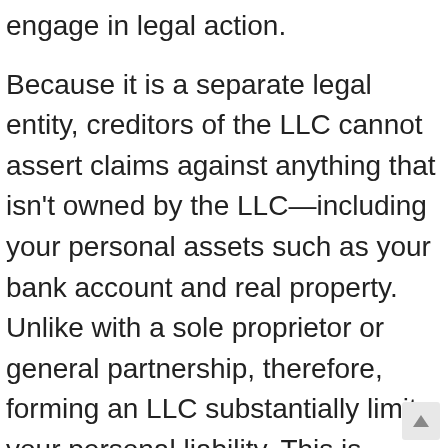engage in legal action.
Because it is a separate legal entity, creditors of the LLC cannot assert claims against anything that isn't owned by the LLC—including your personal assets such as your bank account and real property. Unlike with a sole proprietor or general partnership, therefore, forming an LLC substantially limits your personal liability. This is particularly important if you're operating a business that exposes you to significant risks—such as a construction business, a physical retail business, or a business with a high risk of failure.
Other advantages to forming an LLC include: